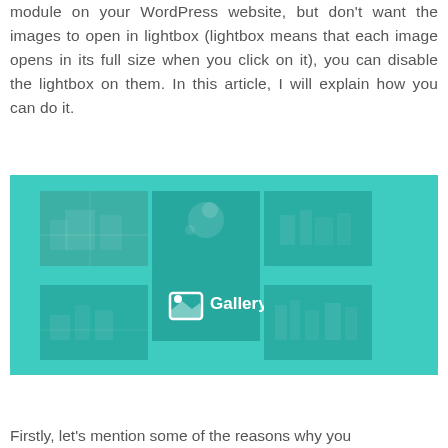module on your WordPress website, but don't want the images to open in lightbox (lightbox means that each image opens in its full size when you click on it), you can disable the lightbox on them. In this article, I will explain how you can do it.
[Figure (screenshot): Screenshot of a Gallery module interface showing a 3x2 grid of city/architecture photos with a teal/turquoise overlay and a 'Gallery' label with icon in the center]
Firstly, let's mention some of the reasons why you